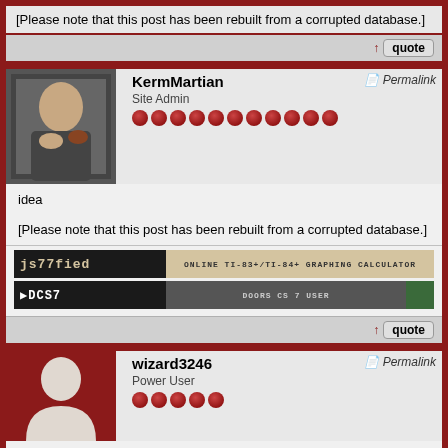[Please note that this post has been rebuilt from a corrupted database.]
↑ quote
KermMartian — Site Admin — Permalink
idea

[Please note that this post has been rebuilt from a corrupted database.]
[Figure (screenshot): js77fied banner - ONLINE TI-83+/TI-84+ GRAPHING CALCULATOR]
[Figure (screenshot): DCS7 banner - DOORS CS 7 USER]
↑ quote
wizard3246 — Power User — Permalink
ones two

[Please note that this post has been rebuilt from a corrupted database.]
Free Pencil-thin Ipod!
↑ quote
tifreak8x — Guru — Permalink